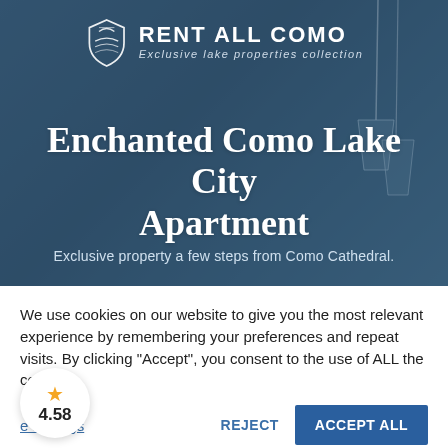[Figure (screenshot): Hero image of apartment interior with blue overlay showing 'Rent All Como' website header]
Enchanted Como Lake City Apartment
Exclusive property a few steps from Como Cathedral.
We use cookies on our website to give you the most relevant experience by remembering your preferences and repeat visits. By clicking "Accept", you consent to the use of ALL the cookies.
Cookie settings  REJECT  ACCEPT ALL
4.58